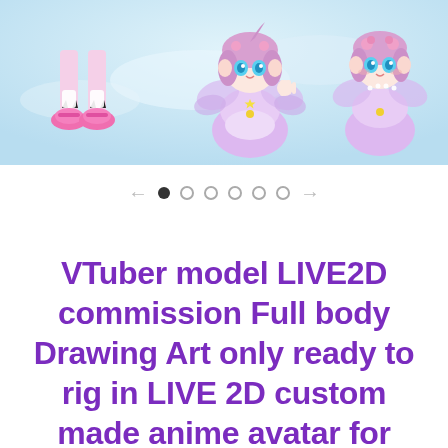[Figure (illustration): Anime-style illustration showing cute VTuber characters in pink/purple outfits. Bottom-left shows legs and pink shoes of a character. Center and right show two full fairy-like characters in lavender dresses with wings, blue eyes, and pink hair accessories, against a light blue background.]
[Figure (infographic): Slideshow navigation: left arrow, one filled dot (active), five empty circle dots, right arrow]
VTuber model LIVE2D commission Full body Drawing Art only ready to rig in LIVE 2D custom made anime avatar for gaming / streaming